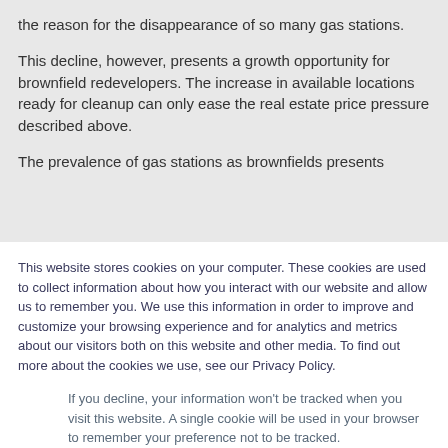the reason for the disappearance of so many gas stations.
This decline, however, presents a growth opportunity for brownfield redevelopers. The increase in available locations ready for cleanup can only ease the real estate price pressure described above.
The prevalence of gas stations as brownfields presents
This website stores cookies on your computer. These cookies are used to collect information about how you interact with our website and allow us to remember you. We use this information in order to improve and customize your browsing experience and for analytics and metrics about our visitors both on this website and other media. To find out more about the cookies we use, see our Privacy Policy.
If you decline, your information won't be tracked when you visit this website. A single cookie will be used in your browser to remember your preference not to be tracked.